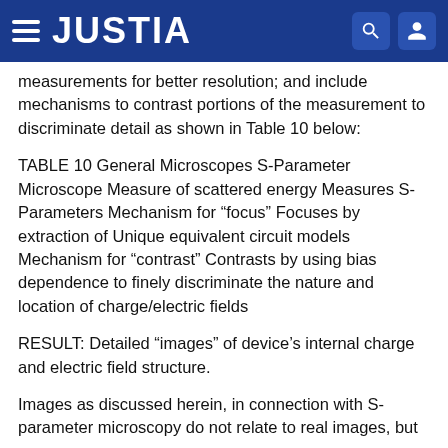JUSTIA
measurements for better resolution; and include mechanisms to contrast portions of the measurement to discriminate detail as shown in Table 10 below:
TABLE 10 General Microscopes S-Parameter Microscope Measure of scattered energy Measures S-Parameters Mechanism for “focus” Focuses by extraction of Unique equivalent circuit models Mechanism for “contrast” Contrasts by using bias dependence to finely discriminate the nature and location of charge/electric fields
RESULT: Detailed “images” of device’s internal charge and electric field structure.
Images as discussed herein, in connection with S-parameter microscopy do not relate to real images, but